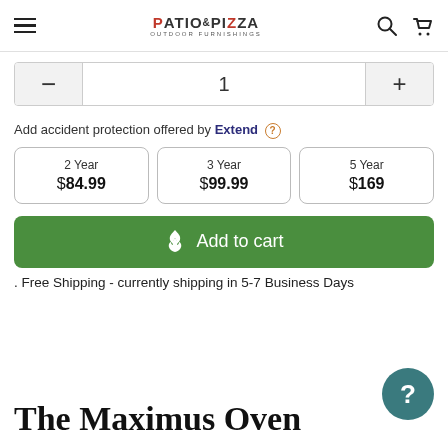Patio & Pizza Outdoor Furnishings — navigation bar with hamburger menu, logo, search and cart icons
1 (quantity selector with minus and plus buttons)
Add accident protection offered by Extend ?
| Plan | Price |
| --- | --- |
| 2 Year | $84.99 |
| 3 Year | $99.99 |
| 5 Year | $169 |
Add to cart
. Free Shipping - currently shipping in 5-7 Business Days
The Maximus Oven